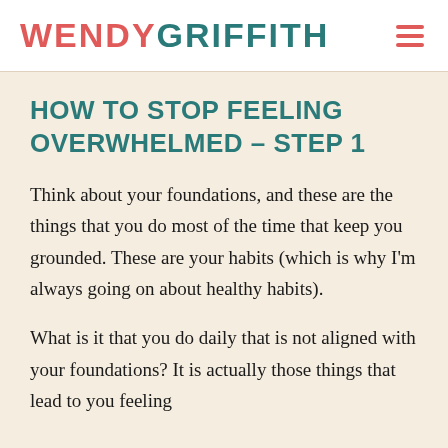WENDY GRIFFITH
HOW TO STOP FEELING OVERWHELMED – STEP 1
Think about your foundations, and these are the things that you do most of the time that keep you grounded. These are your habits (which is why I'm always going on about healthy habits).
What is it that you do daily that is not aligned with your foundations? It is actually those things that lead to you feeling